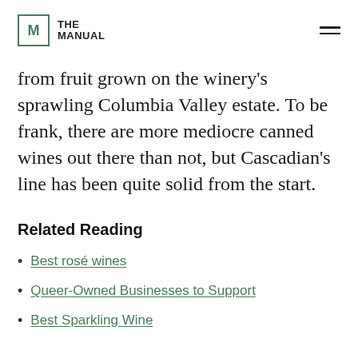THE MANUAL
from fruit grown on the winery's sprawling Columbia Valley estate. To be frank, there are more mediocre canned wines out there than not, but Cascadian's line has been quite solid from the start.
Related Reading
Best rosé wines
Queer-Owned Businesses to Support
Best Sparkling Wine